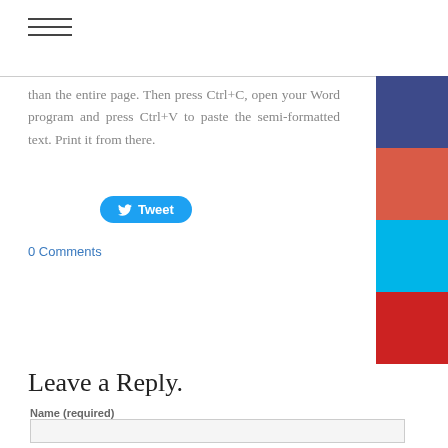[Figure (other): Hamburger menu icon (three horizontal lines)]
than the entire page. Then press Ctrl+C, open your Word program and press Ctrl+V to paste the semi-formatted text. Print it from there.
[Figure (other): Twitter Tweet button (blue pill-shaped button with Twitter bird icon and 'Tweet' text)]
0 Comments
[Figure (other): Purple social share block on right side]
[Figure (other): Red-orange social share block on right side]
[Figure (other): Light blue social share block on right side]
[Figure (other): Bright red social share block on right side]
Leave a Reply.
Name (required)
Email (not published)